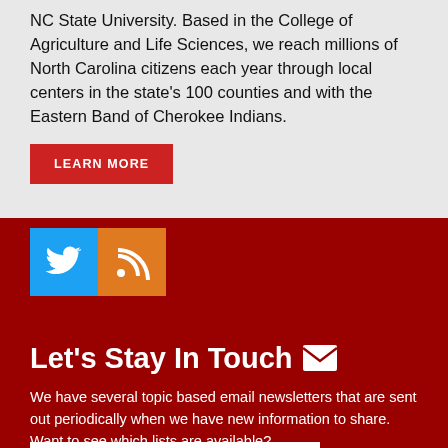NC State University. Based in the College of Agriculture and Life Sciences, we reach millions of North Carolina citizens each year through local centers in the state's 100 counties and with the Eastern Band of Cherokee Indians.
LEARN MORE
[Figure (infographic): Twitter bird icon (blue square) and RSS feed icon (orange square) social media buttons]
Let's Stay In Touch
We have several topic based email newsletters that are sent out periodically when we have new information to share. Want to see which lists are available?